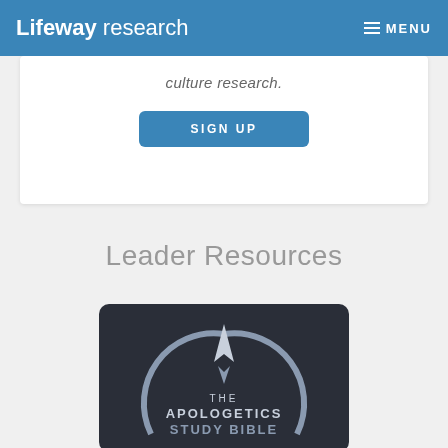Lifeway research  MENU
culture research.
SIGN UP
Leader Resources
[Figure (photo): Dark book cover showing compass/arrow logo with text 'THE APOLOGETICS STUDY BIBLE']